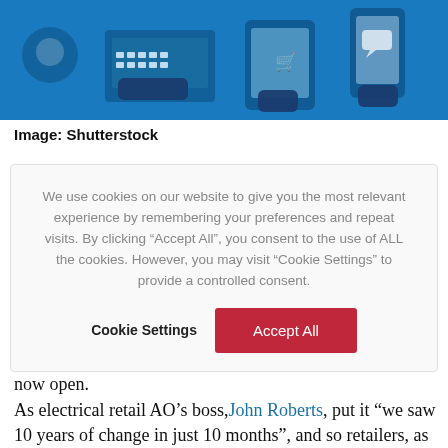[Figure (illustration): Banner illustration showing hands using digital devices (keyboard, tablet, phone, chat) on a blue background.]
Image: Shutterstock
We use cookies on our website to give you the most relevant experience by remembering your preferences and repeat visits. By clicking “Accept All”, you consent to the use of ALL the cookies. However, you may visit “Cookie Settings” to provide a controlled consent.
Cookie Settings   Accept All
now open.
As electrical retail AO’s boss, John Roberts, put it “we saw 10 years of change in just 10 months”, and so retailers, as well as consumers, have had to